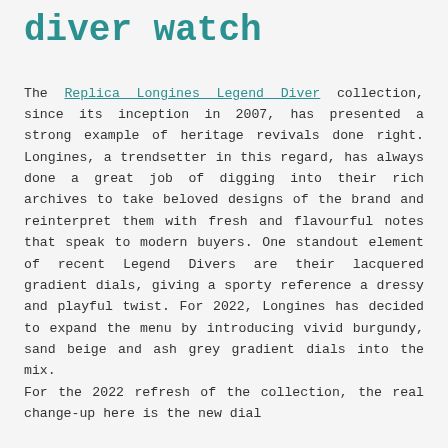diver watch
The Replica Longines Legend Diver collection, since its inception in 2007, has presented a strong example of heritage revivals done right. Longines, a trendsetter in this regard, has always done a great job of digging into their rich archives to take beloved designs of the brand and reinterpret them with fresh and flavourful notes that speak to modern buyers. One standout element of recent Legend Divers are their lacquered gradient dials, giving a sporty reference a dressy and playful twist. For 2022, Longines has decided to expand the menu by introducing vivid burgundy, sand beige and ash grey gradient dials into the mix. For the 2022 refresh of the collection, the real change-up here is the new dial